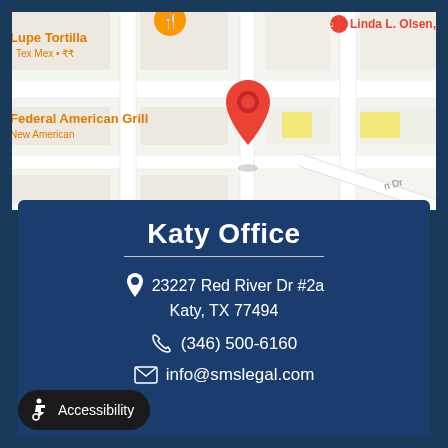[Figure (map): Google Maps screenshot showing street map with location pin near Katy, TX. Shows nearby places including Lupe Tortilla Tex Mex, Federal American Grill New American, and Linda L. Olsen label. Red location pin visible in center area.]
Katy Office
23227 Red River Dr #2a
Katy, TX 77494
(346) 500-6160
info@smslegal.com
Accessibility